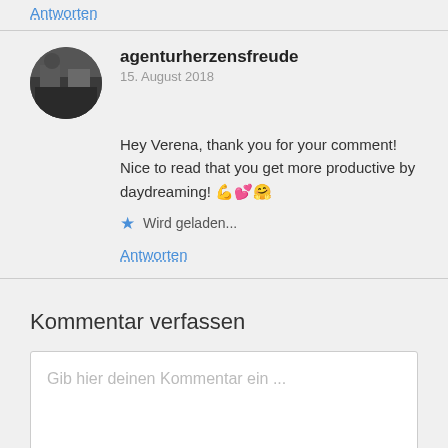Antworten
agenturherzensfreude
15. August 2018
Hey Verena, thank you for your comment! Nice to read that you get more productive by daydreaming! 💪💕🤗
★ Wird geladen...
Antworten
Kommentar verfassen
Gib hier deinen Kommentar ein ...